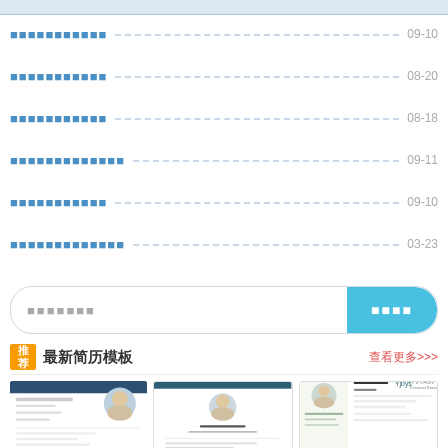■■■■■■■■■■■ 09-10
■■■■■■■■■■■ 08-20
■■■■■■■■■■■ 08-18
■■■■■■■■■■■■■ 09-11
■■■■■■■■■■■ 09-10
■■■■■■■■■■■■■ 03-23
■■■■■■■ [搜索框] ■■■■ [按钮]
推荐 最新简历模板 查看更多>>>
[Figure (screenshot): Three resume template thumbnail previews showing different personal resume layouts with profile photo placeholders and sample content]